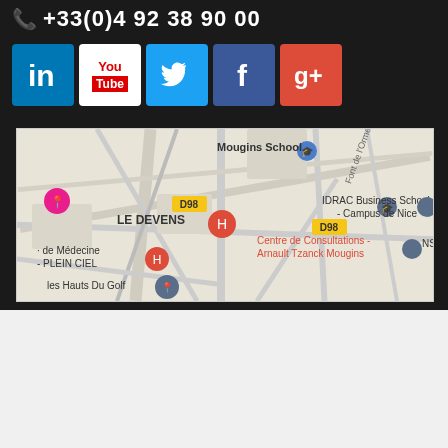+33(0)4 92 38 90 00
[Figure (infographic): Social media icons: LinkedIn, YouTube, Twitter, Facebook, Google+]
[Figure (map): Google Maps view showing Mougins area with markers: Mougins School, D98 road, LE DEVENS, IDRAC Business School Campus de Nice, Centre de Consultations - Arnault Tzanck Mougins, de Médecine - PLEIN CIEL, les Hauts Du Golf, NSH]
[Figure (logo): Nexess company logo in grey]